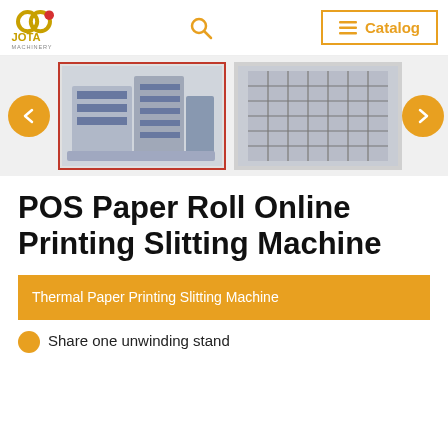JOTA MACHINERY | Catalog
[Figure (photo): Carousel showing two machine photos: a POS paper roll printing slitting machine (selected/highlighted with red border) and a rack/stand system. Orange navigation arrows on left and right.]
POS Paper Roll Online Printing Slitting Machine
Thermal Paper Printing Slitting Machine
Share one unwinding stand